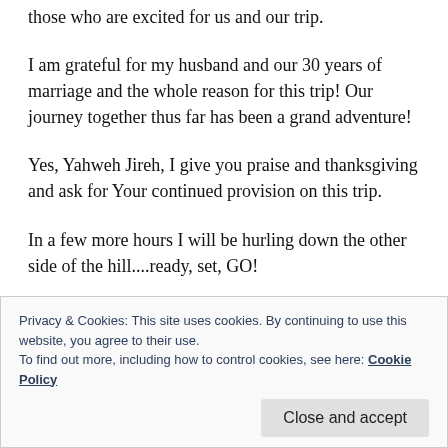those who are excited for us and our trip.
I am grateful for my husband and our 30 years of marriage and the whole reason for this trip! Our journey together thus far has been a grand adventure!
Yes, Yahweh Jireh, I give you praise and thanksgiving and ask for Your continued provision on this trip.
In a few more hours I will be hurling down the other side of the hill....ready, set, GO!
Privacy & Cookies: This site uses cookies. By continuing to use this website, you agree to their use.
To find out more, including how to control cookies, see here: Cookie Policy